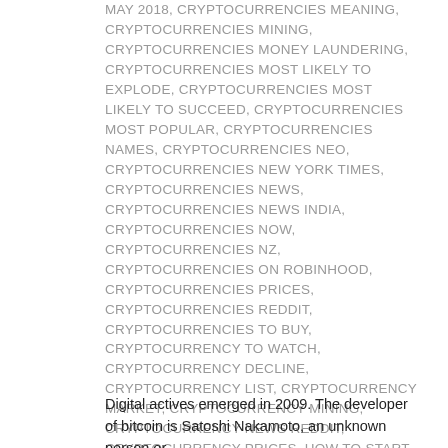MAY 2018, CRYPTOCURRENCIES MEANING, CRYPTOCURRENCIES MINING, CRYPTOCURRENCIES MONEY LAUNDERING, CRYPTOCURRENCIES MOST LIKELY TO EXPLODE, CRYPTOCURRENCIES MOST LIKELY TO SUCCEED, CRYPTOCURRENCIES MOST POPULAR, CRYPTOCURRENCIES NAMES, CRYPTOCURRENCIES NEO, CRYPTOCURRENCIES NEW YORK TIMES, CRYPTOCURRENCIES NEWS, CRYPTOCURRENCIES NEWS INDIA, CRYPTOCURRENCIES NOW, CRYPTOCURRENCIES NZ, CRYPTOCURRENCIES ON ROBINHOOD, CRYPTOCURRENCIES PRICES, CRYPTOCURRENCIES REDDIT, CRYPTOCURRENCIES TO BUY, CRYPTOCURRENCY TO WATCH, CRYPTOCURRENCY DECLINE, CRYPTOCURRENCY LIST, CRYPTOCURRENCY MARKET, CRYPTOCURRENCY MINING, CRYPTOCURRENCY NEWS REDDIT, CRYPTOCURRENCY PRICES, HOW TO START INVESTING IN CRYPTOCURRENCY, HOW TO START WITH CRYPTOCURRENCY, I LOVE CRYPTOCURRENCIES, KNOWN CRYPTOCURRENCIES, KRAKEN CRYPTOCURRENCIES LIST, MORE CRYPTO ONLINE, SATOSHI NAKAMOTO, WHAT CRYPTOCURRENCY, WHERE TO START WITH CRYPTOCURRENCY
Digital actives emerged in 2009. The developer of bitcoin is Satoshi Nakamoto, an unknown person or...